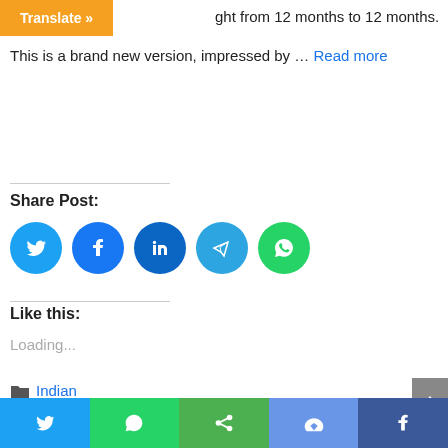ght from 12 months to 12 months.
This is a brand new version, impressed by … Read more
Share Post:
[Figure (other): Social share icons: Twitter, Facebook, LinkedIn, Telegram, WhatsApp]
Like this:
Loading...
Indian
aadheenam, blog, daily, guru, gurudeva, hindu, iraivan, kadavul, kauai, monastery, monks, shiva, siva, temple, today
[Figure (other): Bottom navigation bar with Twitter, WhatsApp, Share, Messenger, Facebook buttons]